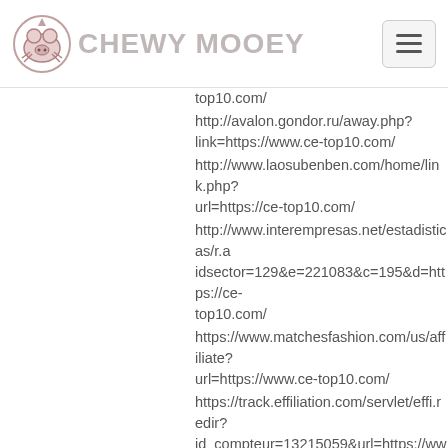Chewy Mooey
top10.com/
http://avalon.gondor.ru/away.php?link=https://www.ce-top10.com/
http://www.laosubenben.com/home/link.php?url=https://ce-top10.com/
http://www.interempresas.net/estadisticas/r.idsector=129&e=221083&c=195&d=https://ce-top10.com/
https://www.matchesfashion.com/us/affiliate?url=https://www.ce-top10.com/
https://track.effiliation.com/servlet/effi.redir?id_compteur=13215059&url=https://www.ce-top10.com/
https://socialmart.ru/redirect.php?url=https://www.ce-top10.com/
https://www.cheerunion.org/tracker/index.html?t=ad&pool_id=2&ad_id=5&url=https://www.ce-top10.com/
https://globalmedia51.ru/bitrix/redirect.php?goto=https://www.ce-top10.com/
http://www.cyrrus...